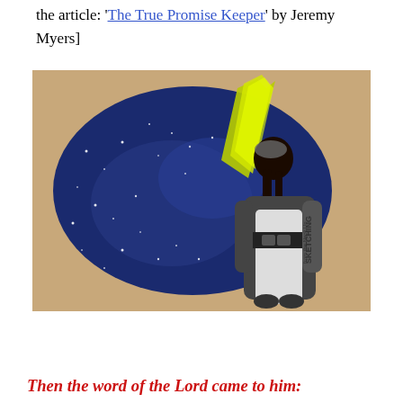the article: 'The True Promise Keeper' by Jeremy Myers]
[Figure (illustration): A digital illustration of a robed figure (Jesus-like) standing and looking upward at a bright yellow-green light/star descending from above, set against a starry night sky background with sandy/tan border. Text in bottom-right reads 'SKETCHING from the Neck Up'.]
Then the word of the Lord came to him: